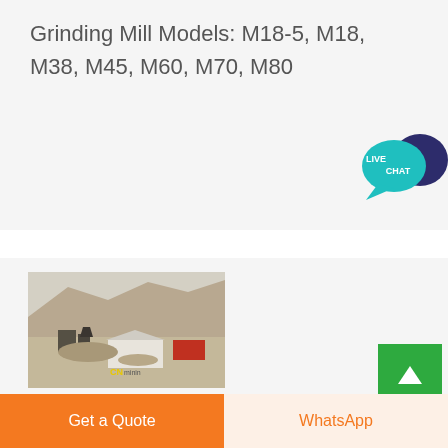Grinding Mill Models: M18-5, M18, M38, M45, M60, M70, M80
[Figure (photo): Aerial view of a mining/quarry site with excavation machinery, rock crushing equipment, a white structure, and a red container. Yellow 'CN' logo visible at bottom. Mountains and hazy sky in background.]
Get a Quote
WhatsApp